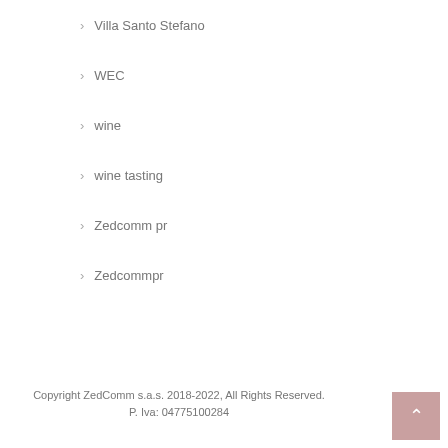Villa Santo Stefano
WEC
wine
wine tasting
Zedcomm pr
Zedcommpr
Copyright ZedComm s.a.s. 2018-2022, All Rights Reserved. P. Iva: 04775100284